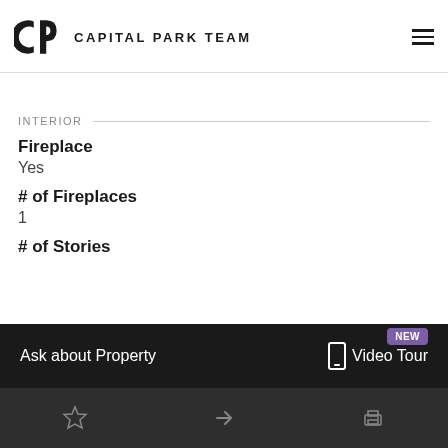CAPITAL PARK TEAM
INTERIOR
Fireplace
Yes
# of Fireplaces
1
# of Stories
Ask about Property   Video Tour   NEW